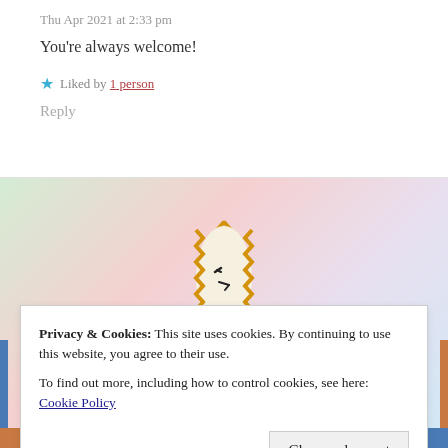Thu Apr 2021 at 2:33 pm
You’re always welcome!
★ Liked by 1 person
Reply
[Figure (logo): A stylized face/sun icon with zigzag golden border, white center, and black facial features drawn in a simple cartoon style]
Privacy & Cookies: This site uses cookies. By continuing to use this website, you agree to their use. To find out more, including how to control cookies, see here: Cookie Policy
Close and accept